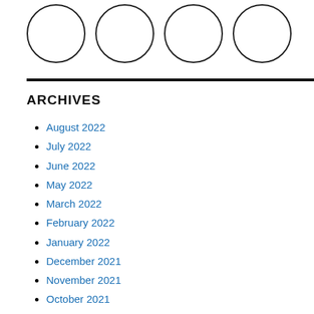[Figure (illustration): Four empty circles arranged in a horizontal row]
ARCHIVES
August 2022
July 2022
June 2022
May 2022
March 2022
February 2022
January 2022
December 2021
November 2021
October 2021